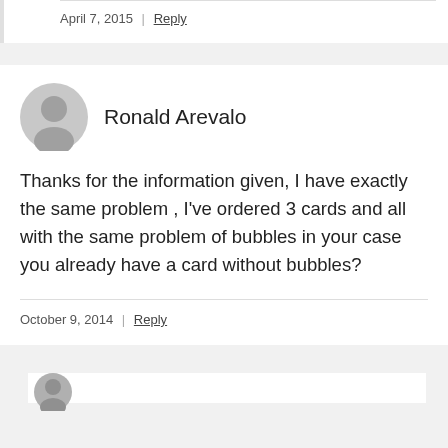April 7, 2015 | Reply
Ronald Arevalo
Thanks for the information given, I have exactly the same problem , I've ordered 3 cards and all with the same problem of bubbles in your case you already have a card without bubbles?
October 9, 2014 | Reply